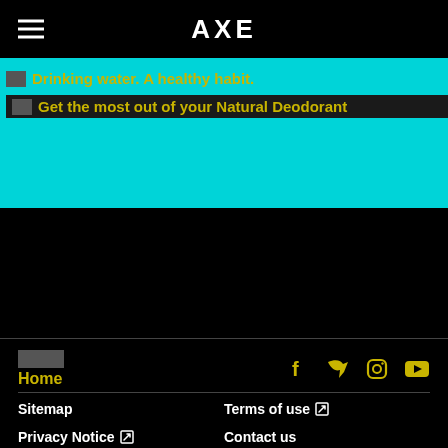AXE
Drinking water. A healthy habit.
Get the most out of your Natural Deodorant
[Figure (logo): AXE logo and Home link with social media icons (Facebook, Twitter, Instagram, YouTube) in yellow on black footer]
Sitemap
Terms of use
Privacy Notice
Contact us
Ad Choice
1-800-450-7580
Sign up for newsletter
Accessibility